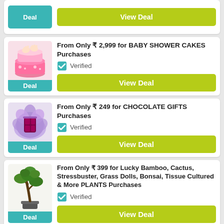Deal | View Deal
From Only ₹ 2,999 for BABY SHOWER CAKES Purchases
Verified
View Deal
From Only ₹ 249 for CHOCOLATE GIFTS Purchases
Verified
View Deal
From Only ₹ 399 for Lucky Bamboo, Cactus, Stressbuster, Grass Dolls, Bonsai, Tissue Cultured & More PLANTS Purchases
Verified
View Deal